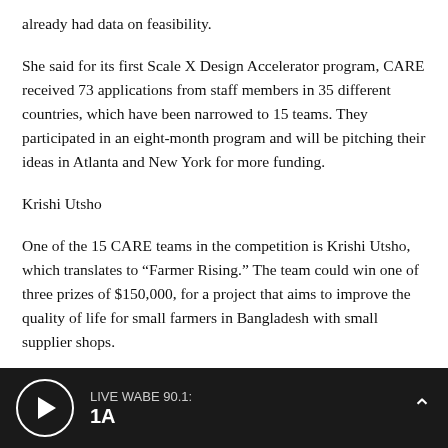already had data on feasibility.
She said for its first Scale X Design Accelerator program, CARE received 73 applications from staff members in 35 different countries, which have been narrowed to 15 teams. They participated in an eight-month program and will be pitching their ideas in Atlanta and New York for more funding.
Krishi Utsho
One of the 15 CARE teams in the competition is Krishi Utsho, which translates to “Farmer Rising.” The team could win one of three prizes of $150,000, for a project that aims to improve the quality of life for small farmers in Bangladesh with small supplier shops.
Right now, CARE has 150 shops in Bangladesh in villages. It has...
LIVE WABE 90.1: 1A